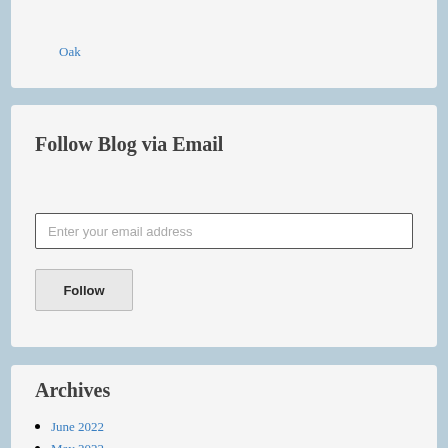Oak
Follow Blog via Email
Enter your email address
Follow
Archives
June 2022
May 2022
April 2022